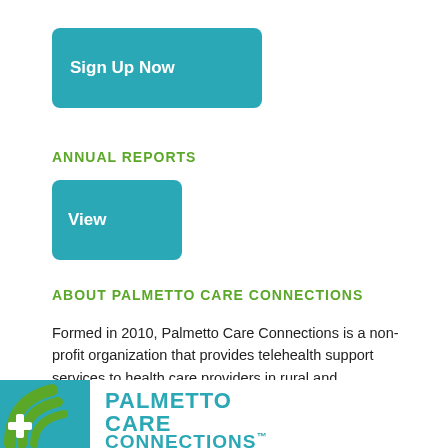[Figure (other): Teal 'Sign Up Now' button]
ANNUAL REPORTS
[Figure (other): Teal 'View' button]
ABOUT PALMETTO CARE CONNECTIONS
Formed in 2010, Palmetto Care Connections is a non-profit organization that provides telehealth support services to health care providers in rural and underserved areas of South Carolina.
[Figure (logo): Palmetto Care Connections logo with teal and green design, including share button]